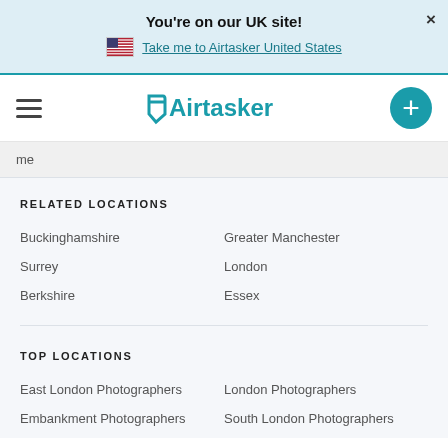You're on our UK site!
Take me to Airtasker United States
[Figure (logo): Airtasker logo with teal wordmark and stylized arrow icon]
me
RELATED LOCATIONS
Buckinghamshire
Greater Manchester
Surrey
London
Berkshire
Essex
TOP LOCATIONS
East London Photographers
London Photographers
Embankment Photographers
South London Photographers